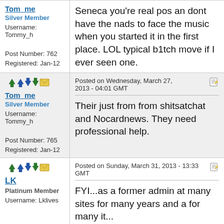Tom_me
Silver Member
Username: Tommy_h
Post Number: 762
Registered: Jan-12
Seneca you're real pos an dont have the nads to face the music when you started it in the first place. LOL typical b1tch move if I ever seen one.
[Figure (infographic): Forum icons: arrows and envelope]
Tom_me
Silver Member
Username: Tommy_h
Post Number: 765
Registered: Jan-12
Posted on Wednesday, March 27, 2013 - 04:01 GMT
Their just from from shitsatchat and Nocardnews. They need professional help.
[Figure (infographic): Forum icons: arrows and envelope]
LK
Platinum Member
Username: Lklives
Posted on Sunday, March 31, 2013 - 13:33 GMT
FYI...as a former admin at many sites for many years and a for many it...